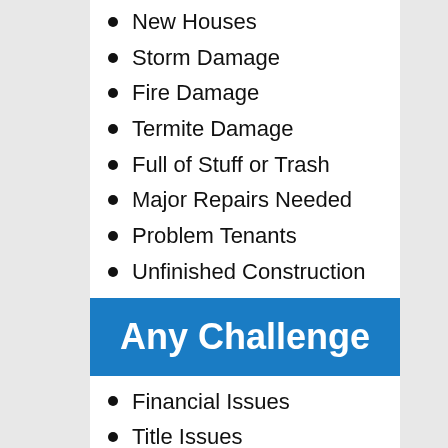New Houses
Storm Damage
Fire Damage
Termite Damage
Full of Stuff or Trash
Major Repairs Needed
Problem Tenants
Unfinished Construction
Any Challenge
Financial Issues
Title Issues
Code Violations
Hoarder Home
Low Equity